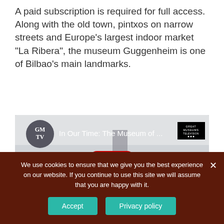A paid subscription is required for full access. Along with the old town, pintxos on narrow streets and Europe’s largest indoor market “La Ribera”, the museum Guggenheim is one of Bilbao’s main landmarks.
[Figure (screenshot): YouTube video thumbnail showing a museum interior (MoMA). The video is titled 'In Our Time: The Museum of ...' with GMTV (Great Museums Television) logo. A red YouTube play button is centered on the thumbnail. Text at bottom reads 'In Our Time: MoMA'.]
We use cookies to ensure that we give you the best experience on our website. If you continue to use this site we will assume that you are happy with it.